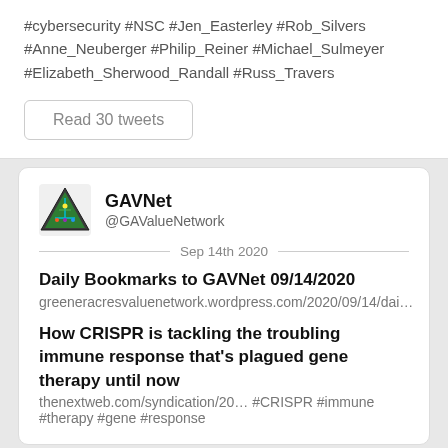#cybersecurity #NSC #Jen_Easterley #Rob_Silvers #Anne_Neuberger #Philip_Reiner #Michael_Sulmeyer #Elizabeth_Sherwood_Randall #Russ_Travers
Read 30 tweets
GAVNet @GAValueNetwork
Sep 14th 2020
Daily Bookmarks to GAVNet 09/14/2020
greeneracresvaluenetwork.wordpress.com/2020/09/14/dai…
How CRISPR is tackling the troubling immune response that's plagued gene therapy until now
thenextweb.com/syndication/20… #CRISPR #immune #therapy #gene #response